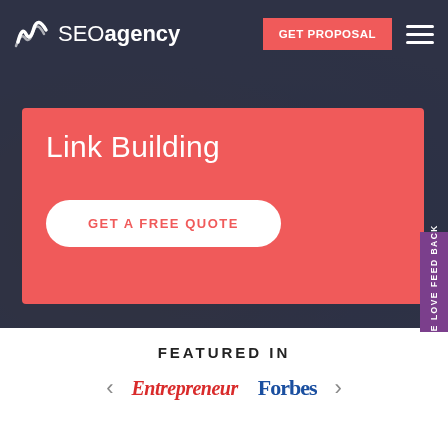[Figure (screenshot): SEO agency website hero section with dark overlay background showing blurred office/people working photo]
SEOagency | GET PROPOSAL
Link Building
GET A FREE QUOTE
WE LOVE FEED BACK
FEATURED IN
Entrepreneur
Forbes